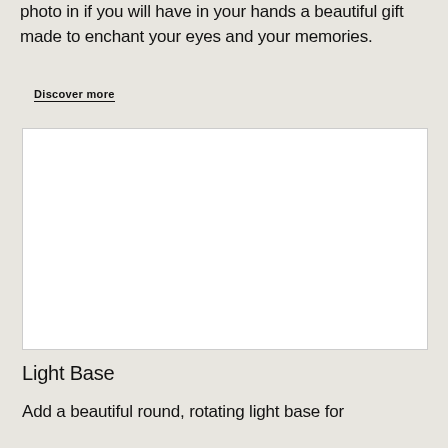photo in if you will have in your hands a beautiful gift made to enchant your eyes and your memories.
Discover more
[Figure (photo): White rectangular image placeholder area]
Light Base
Add a beautiful round, rotating light base for